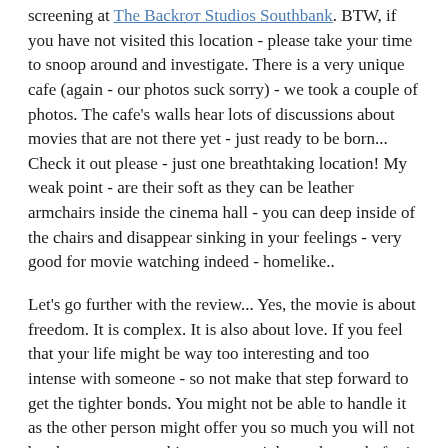screening at The Backrот Studios Southbank. BTW, if you have not visited this location - please take your time to snoop around and investigate. There is a very unique cafe (again - our photos suck sorry) - we took a couple of photos. The cafe's walls hear lots of discussions about movies that are not there yet - just ready to be born... Check it out please - just one breathtaking location! My weak point - are their soft as they can be leather armchairs inside the cinema hall - you can deep inside of the chairs and disappear sinking in your feelings - very good for movie watching indeed - homelike..
Let's go further with the review... Yes, the movie is about freedom. It is complex. It is also about love. If you feel that your life might be way too interesting and too intense with someone - so not make that step forward to get the tighter bonds. You might not be able to handle it as the other person might offer you so much you will not be ale to accept anything or you might not be ready for it yet... Are you??? Sometimes it is a path decision. then you might choose an easy and silent but terribly boring life to